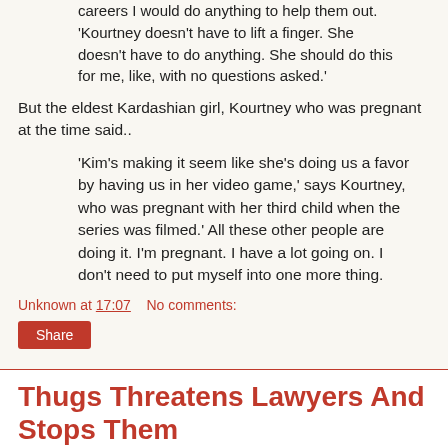'Kourtney doesn't have to lift a finger. She doesn't have to do anything. She should do this for me, like, with no questions asked.'
But the eldest Kardashian girl, Kourtney who was pregnant at the time said..
'Kim's making it seem like she's doing us a favor by having us in her video game,' says Kourtney, who was pregnant with her third child when the series was filmed.' All these other people are doing it. I'm pregnant. I have a lot going on. I don't need to put myself into one more thing.
Unknown at 17:07    No comments:
Share
Thugs Threatens Lawyers And Stops Them From Marching For Buhari In Ondo